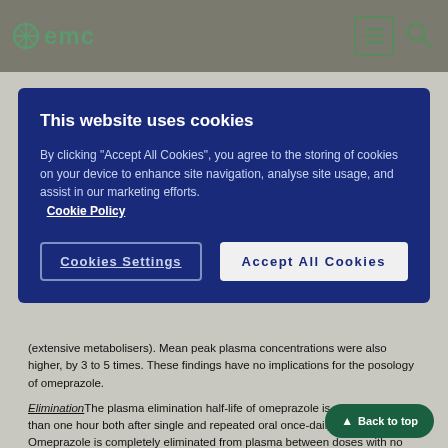emc
(extensive metabolisers). Mean peak plasma concentrations were also higher, by 3 to 5 times. These findings have no implications for the posology of omeprazole.
Elimination The plasma elimination half-life of omeprazole is usually shorter than one hour both after single and repeated oral once-daily dosing. Omeprazole is completely eliminated from plasma between doses with no tendency for accumulation during once-daily administration. Almost 80% of an oral dose of omeprazole is excreted as metabolites in the urine, the remainder in the faeces, primarily originating from bile secretion.
Linearity/non-linearity
The AUC of omeprazole increases with repeated administration. This
[Figure (screenshot): Cookie consent modal overlay on emc website with title 'This website uses cookies', explanatory text, Cookie Policy link, Cookies Settings button, and Accept All Cookies button on dark blue background.]